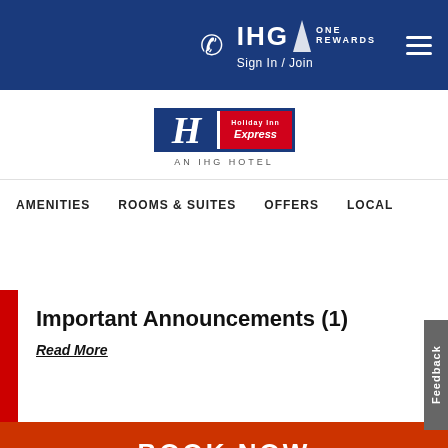IHG ONE REWARDS  Sign In / Join
[Figure (logo): Holiday Inn Express - An IHG Hotel logo]
AMENITIES  ROOMS & SUITES  OFFERS  LOCAL
Important Announcements (1)
Read More
BOOK NOW